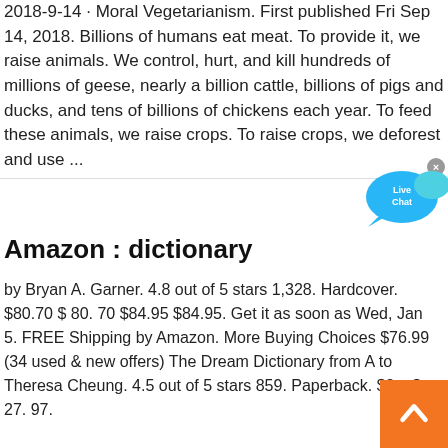2018-9-14 · Moral Vegetarianism. First published Fri Sep 14, 2018. Billions of humans eat meat. To provide it, we raise animals. We control, hurt, and kill hundreds of millions of geese, nearly a billion cattle, billions of pigs and ducks, and tens of billions of chickens each year. To feed these animals, we raise crops. To raise crops, we deforest and use ...
[Figure (illustration): Live Chat button with speech bubble icon in blue]
Amazon : dictionary
by Bryan A. Garner. 4.8 out of 5 stars 1,328. Hardcover. $80.70 $ 80. 70 $84.95 $84.95. Get it as soon as Wed, Jan 5. FREE Shipping by Amazon. More Buying Choices $76.99 (34 used & new offers) The Dream Dictionary from A to Theresa Cheung. 4.5 out of 5 stars 859. Paperback. $27. $ 27. 97.
[Figure (illustration): Orange scroll-to-top button with upward chevron arrow]